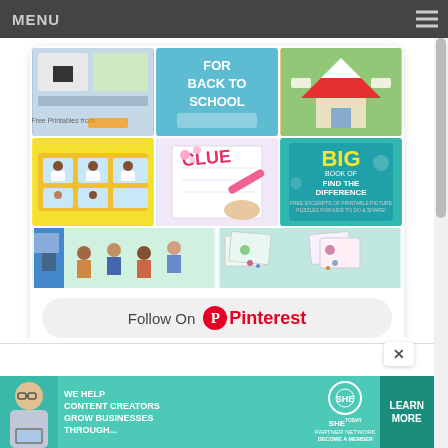MENU
[Figure (screenshot): Pinterest widget showing a 3x2 grid of educational printable images including back-to-school printables, find-the-difference puzzle books, bus/classroom illustrations, and activity sheets]
Follow On Pinterest
[Figure (advertisement): SHE Partner Network ad banner: WE HELP CONTENT CREATORS GROW BUSINESSES THROUGH... with LEARN MORE button and photo of woman with laptop]